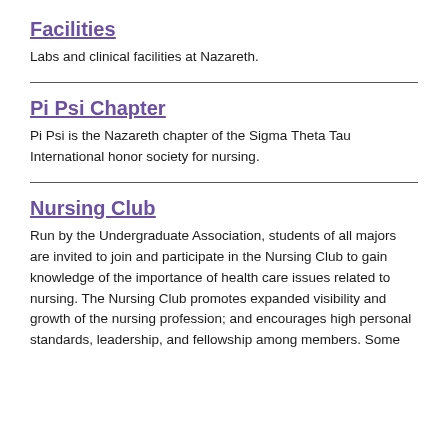Facilities
Labs and clinical facilities at Nazareth.
Pi Psi Chapter
Pi Psi is the Nazareth chapter of the Sigma Theta Tau International honor society for nursing.
Nursing Club
Run by the Undergraduate Association, students of all majors are invited to join and participate in the Nursing Club to gain knowledge of the importance of health care issues related to nursing. The Nursing Club promotes expanded visibility and growth of the nursing profession; and encourages high personal standards, leadership, and fellowship among members. Some